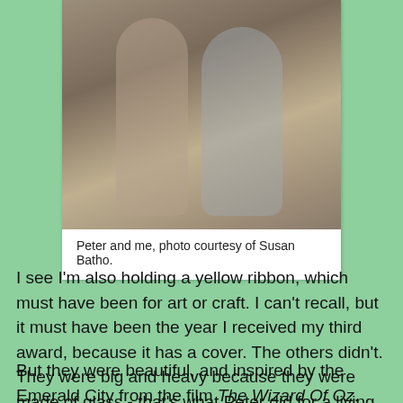[Figure (photo): Black and white/sepia photo of two people (Peter and the author) standing together, one holding what appears to be an award or book.]
Peter and me, photo courtesy of Susan Batho.
I see I'm also holding a yellow ribbon, which must have been for art or craft. I can't recall, but it must have been the year I received my third award, because it has a cover. The others didn't. They were big and heavy because they were made of glass - that's what Peter did for a living, glassmaking, I mean.
But they were beautiful, and inspired by the Emerald City from the film The Wizard Of Oz.